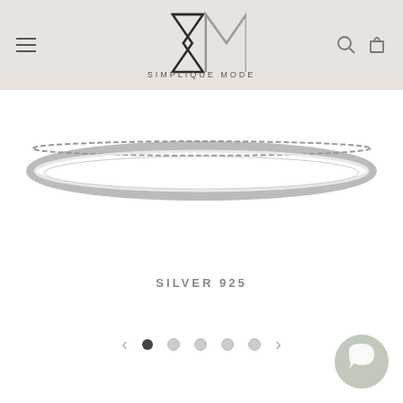Simplique Mode — navigation header with logo, hamburger menu, search and cart icons
[Figure (photo): A silver ring or bracelet viewed from top, showing a thin silver band with decorative pattern, against a white background]
SILVER 925
[Figure (other): Slider navigation: left arrow, five dots (first filled/active, rest empty), right arrow]
[Figure (other): Chat/messaging bubble icon in muted sage green color, bottom right corner]